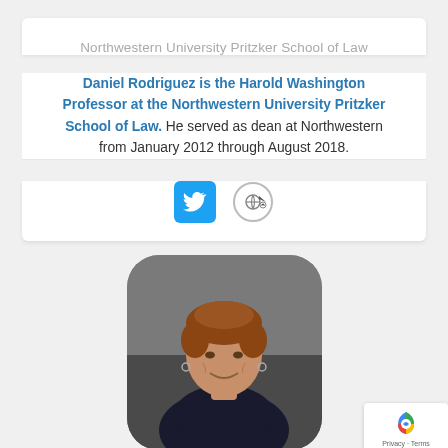Northwestern University Pritzker School of Law
Daniel Rodriguez is the Harold Washington Professor at the Northwestern University Pritzker School of Law. He served as dean at Northwestern from January 2012 through August 2018.
[Figure (other): Social media icons: Twitter bird icon (blue square) and a link/website icon (circular arrow with cursor)]
[Figure (photo): Professional headshot of a woman with short reddish-brown hair, wearing dark clothing, smiling, against a gray background, displayed in a rounded rectangle frame.]
[Figure (other): Google reCAPTCHA badge with logo and 'Privacy · Terms' text]